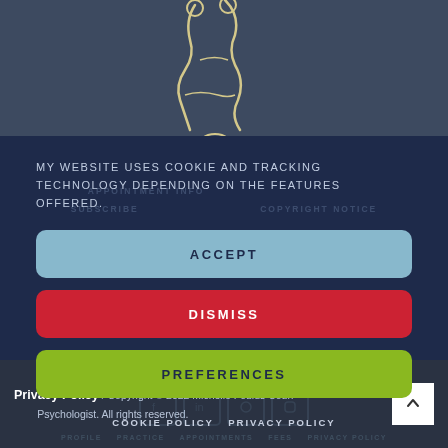[Figure (logo): Abstract logo mark with curved lines on dark background]
MY WEBSITE USES COOKIE AND TRACKING TECHNOLOGY DEPENDING ON THE FEATURES OFFERED.
ACCEPT
DISMISS
PREFERENCES
COOKIE POLICY  PRIVACY POLICY
Privacy Policy / Copyright © 2022 Michelle Foulds Counselling Psychologist. All rights reserved.